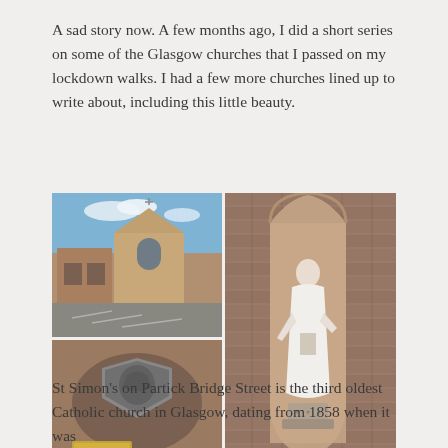A sad story now. A few months ago, I did a short series on some of the Glasgow churches that I passed on my lockdown walks. I had a few more churches lined up to write about, including this little beauty.
[Figure (photo): A collage of three photos of St Simon's church on Partick Bridge Street, Glasgow. Top left: exterior street view of a stone Gothic-style church with a pointed gable and blue sky. Bottom left: close-up of a stone shield emblem and bronze plaque on a rock. Right: a white marble statue of a saint in a Gothic arched niche set into a red/brown brick wall.]
St Simon's on Partick Bridge Street is the third oldest Catholic church in Glasgow, dating from 1858 when it was